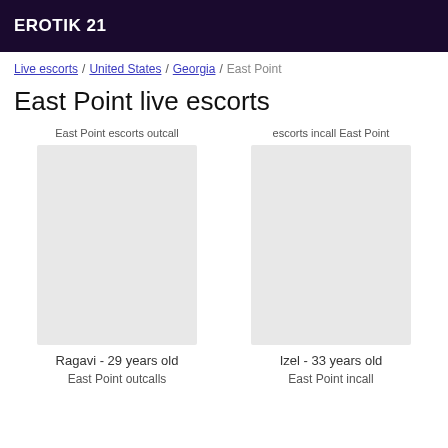EROTIK 21
Live escorts / United States / Georgia / East Point
East Point live escorts
East Point escorts outcall
escorts incall East Point
Ragavi - 29 years old
East Point outcalls
Izel - 33 years old
East Point incall